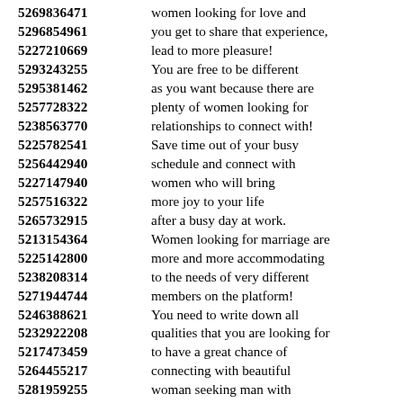5269836471 women looking for love and
5296854961 you get to share that experience,
5227210669 lead to more pleasure!
5293243255 You are free to be different
5295381462 as you want because there are
5257728322 plenty of women looking for
5238563770 relationships to connect with!
5225782541 Save time out of your busy
5256442940 schedule and connect with
5227147940 women who will bring
5257516322 more joy to your life
5265732915 after a busy day at work.
5213154364 Women looking for marriage are
5225142800 more and more accommodating
5238208314 to the needs of very different
5271944744 members on the platform!
5246388621 You need to write down all
5232922208 qualities that you are looking for
5217473459 to have a great chance of
5264455217 connecting with beautiful
5281959255 woman seeking man with
5222491836 good character and personality.
5263177756 Since you are searching for
5237830687 women for men online
5240138641 you can enjoy chatting